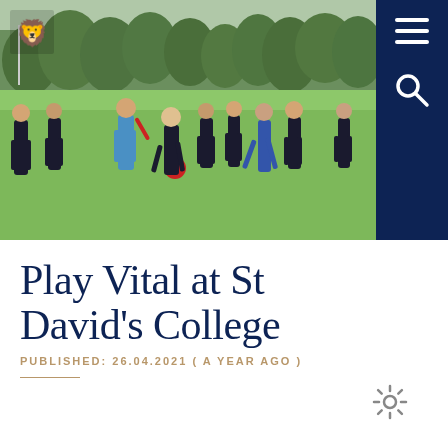[Figure (photo): Students playing sport on a green grass field outdoors. A teacher in a blue puffer jacket holds a red bat while students in black sportswear play, with trees in the background. School logo (lion crest) visible top-left. Dark navy navigation panel with hamburger menu and search icon at top-right.]
Play Vital at St David's College
PUBLISHED: 26.04.2021 ( A YEAR AGO )